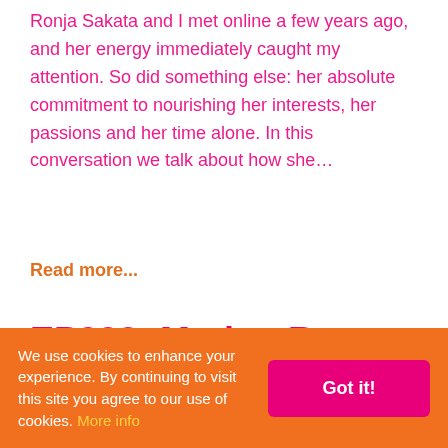Ronja Sakata and I met online a few years ago, and her energy immediately caught my attention. So did something else: her absolute commitment to nourishing her interests, her passions and her time alone. In this conversation we talk about how she…
Read more...
EP003: Marion Rose on
We use cookies to enhance your experience. By continuing to visit this site you agree to our use of cookies. More info